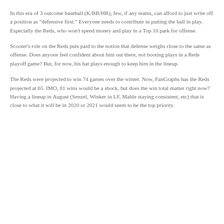In this era of 3 outcome baseball (K/BB/HR), few, if any teams, can afford to just write off a position as "defensive first." Everyone needs to contribute in putting the ball in play. Especially the Reds, who won't spend money and play in a Top 10 park for offense.
Scooter's role on the Reds puts paid to the notion that defense weighs close to the same as offense. Does anyone feel confident about him out there, not booting plays in a Reds playoff game? But, for now, his bat plays enough to keep him in the lineup.
The Reds were projected to win 74 games over the winter. Now, FanGraphs has the Reds projected at 65. IMO, 81 wins would be a shock, but does the win total matter right now? Having a lineup in August (Senzel, Winker in LF, Mahle staying consistent, etc) that is close to what it will be in 2020 or 2021 would seem to be the top priority.